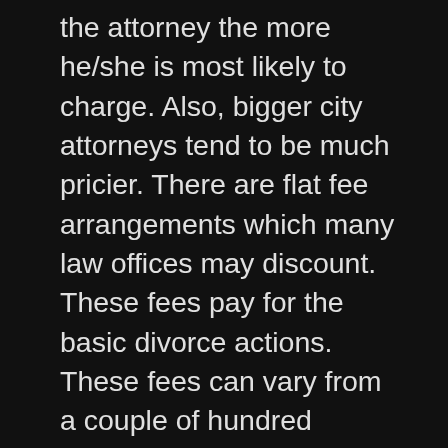the attorney the more he/she is most likely to charge. Also, bigger city attorneys tend to be much pricier. There are flat fee arrangements which many law offices may discount. These fees pay for the basic divorce actions. These fees can vary from a couple of hundred dollars and up. A low can be $500.00 to a high of $2,500.00. One should discuss with their lawyer about hourly rates and opportunities for flat fee arrangements. Hourly rates for lawyers can vary from $75.00 to $250.00 and higher. There is also a filing fee that is required (except those that meet or are under the poverty threshold) which is $215.00. If a